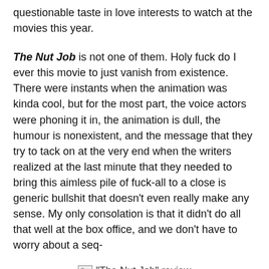questionable taste in love interests to watch at the movies this year.
The Nut Job is not one of them. Holy fuck do I ever this movie to just vanish from existence. There were instants when the animation was kinda cool, but for the most part, the voice actors were phoning it in, the animation is dull, the humour is nonexistent, and the message that they try to tack on at the very end when the writers realized at the last minute that they needed to bring this aimless pile of fuck-all to a close is generic bullshit that doesn't even really make any sense. My only consolation is that it didn't do all that well at the box office, and we don't have to worry about a seq-
[Figure (other): Broken image placeholder with alt text: "The Nut Job" review]